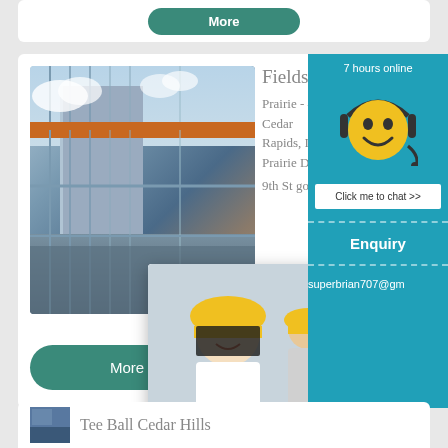[Figure (screenshot): Partial top card with a teal rounded button]
[Figure (screenshot): Main card with construction site photo, Fields Locations text, address info, partial overlay of Live Chat popup with workers, Chat now and Chat later buttons, and a right sidebar with smiley face, Enquiry, and email info]
Fields Locations
Prairie - 401 76th Ave SW Cedar Rapids, IA. Regis - 735 Prairie Dr NE 9th St go and go up the hill to p far end of the
[Figure (screenshot): Live Chat popup overlay: workers in hard hats, LIVE CHAT heading, Click for a Free Consultation, Chat now and Chat later buttons]
7 hours online
Click me to chat >>
Enquiry
superbrian707@gm
[Figure (screenshot): Bottom partial card with thumbnail image and Tee Ball Cedar Hills partial title]